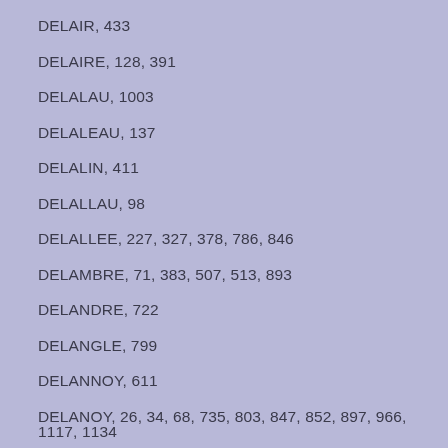DELAIR, 433
DELAIRE, 128, 391
DELALAU, 1003
DELALEAU, 137
DELALIN, 411
DELALLAU, 98
DELALLEE, 227, 327, 378, 786, 846
DELAMBRE, 71, 383, 507, 513, 893
DELANDRE, 722
DELANGLE, 799
DELANNOY, 611
DELANOY, 26, 34, 68, 735, 803, 847, 852, 897, 966, 1117, 1134
DELAPLACE, 186, 546, 830